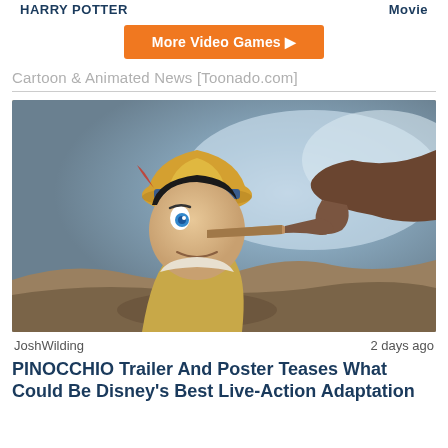HARRY POTTER   Movie
More Video Games ▶
Cartoon & Animated News [Toonado.com]
[Figure (photo): A CGI Pinocchio character looking upward with his elongated nose visible, reaching toward a gloved hand from the right side. Blue eyes, yellow hat, and a cinematic lighting with a rocky/cloudy background.]
JoshWilding   2 days ago
PINOCCHIO Trailer And Poster Teases What Could Be Disney's Best Live-Action Adaptation